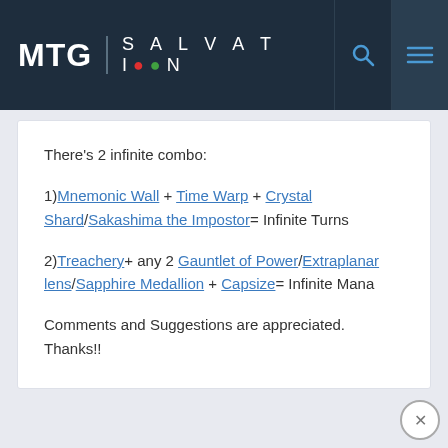MTG SALVATION
There's 2 infinite combo:

1)Mnemonic Wall + Time Warp + Crystal Shard/Sakashima the Impostor= Infinite Turns

2)Treachery+ any 2 Gauntlet of Power/Extraplanar lens/Sapphire Medallion + Capsize= Infinite Mana

Comments and Suggestions are appreciated. Thanks!!